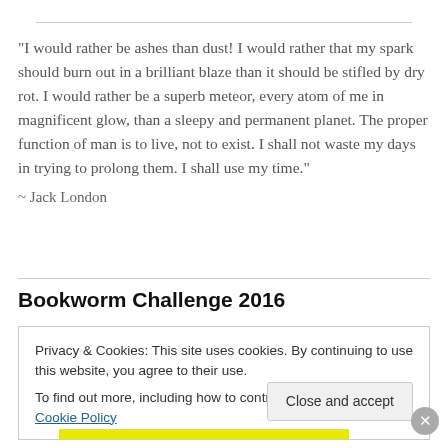"I would rather be ashes than dust! I would rather that my spark should burn out in a brilliant blaze than it should be stifled by dry rot. I would rather be a superb meteor, every atom of me in magnificent glow, than a sleepy and permanent planet. The proper function of man is to live, not to exist. I shall not waste my days in trying to prolong them. I shall use my time."
~ Jack London
Bookworm Challenge 2016
Privacy & Cookies: This site uses cookies. By continuing to use this website, you agree to their use.
To find out more, including how to control cookies, see here: Cookie Policy